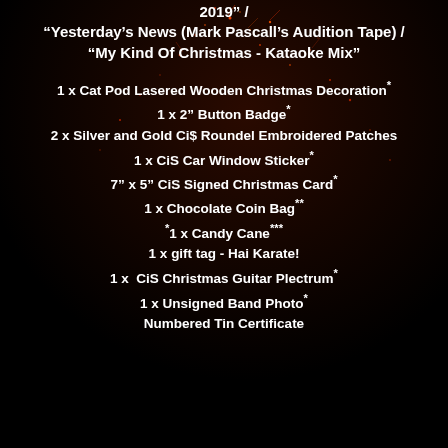2019" / "Yesterday's News (Mark Pascall's Audition Tape) / "My Kind Of Christmas - Kataoke Mix"
1 x Cat Pod Lasered Wooden Christmas Decoration*
1 x 2" Button Badge*
2 x Silver and Gold CiS Roundel Embroidered Patches
1 x CiS Car Window Sticker*
7" x 5" CiS Signed Christmas Card*
1 x Chocolate Coin Bag**
*1 x Candy Cane***
1 x gift tag - Hai Karate!
1 x  CiS Christmas Guitar Plectrum*
1 x Unsigned Band Photo*
Numbered Tin Certificate